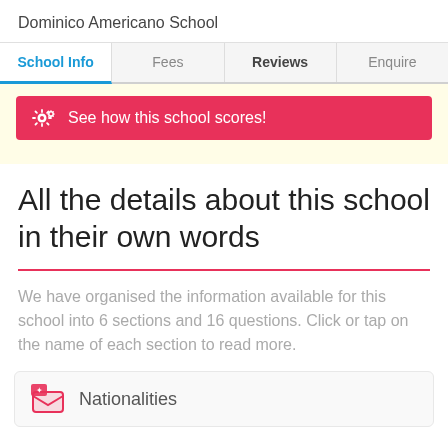Dominico Americano School
School Info | Fees | Reviews | Enquire
[Figure (screenshot): Pink/red button with gear icon saying 'See how this school scores!' inside a yellow background banner]
All the details about this school in their own words
We have organised the information available for this school into 6 sections and 16 questions. Click or tap on the name of each section to read more.
Nationalities